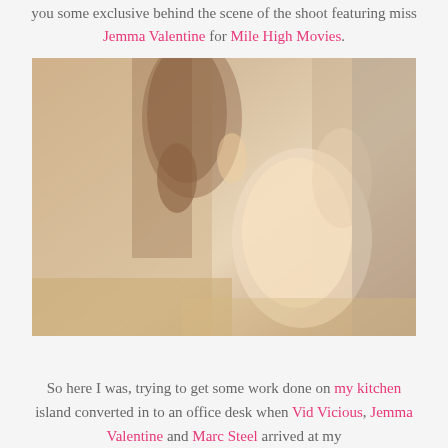you some exclusive behind the scene of the shoot featuring miss Jemma Valentine for Mile High Movies.
[Figure (photo): Behind the scenes photo from a film shoot featuring a blonde woman and a tattooed man]
So here I was, trying to get some work done on my kitchen island converted in to an office desk when Vid Vicious, Jemma Valentine and Marc Steel arrived at my